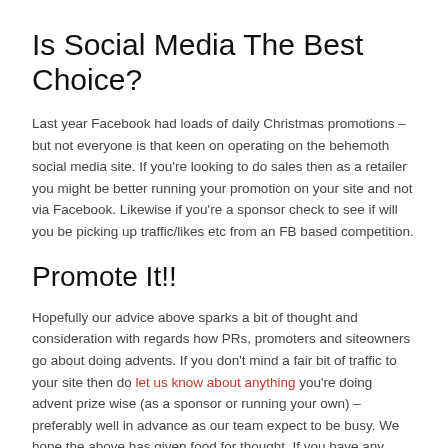Is Social Media The Best Choice?
Last year Facebook had loads of daily Christmas promotions – but not everyone is that keen on operating on the behemoth social media site. If you're looking to do sales then as a retailer you might be better running your promotion on your site and not via Facebook. Likewise if you're a sponsor check to see if will you be picking up traffic/likes etc from an FB based competition.
Promote It!!
Hopefully our advice above sparks a bit of thought and consideration with regards how PRs, promoters and siteowners go about doing advents. If you don't mind a fair bit of traffic to your site then do let us know about anything you're doing advent prize wise (as a sponsor or running your own) – preferably well in advance as our team expect to be busy. We hope the above has given food for thought. If you have any questions then feel free to contact us.